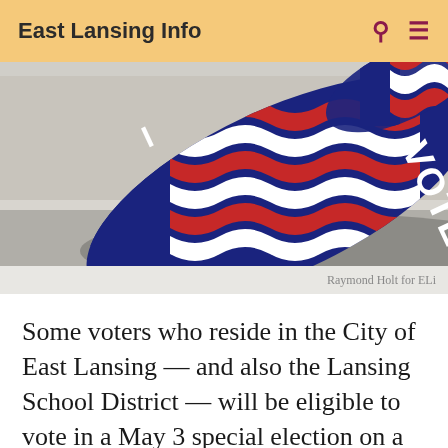East Lansing Info
[Figure (photo): Close-up photo of 'I VOTED' stickers with American flag design on a blue oval background, resting on a grey surface. A second sticker is visible in the upper right corner.]
Raymond Holt for ELi
Some voters who reside in the City of East Lansing — and also the Lansing School District — will be eligible to vote in a May 3 special election on a bond proposal to fund capital improvements at several